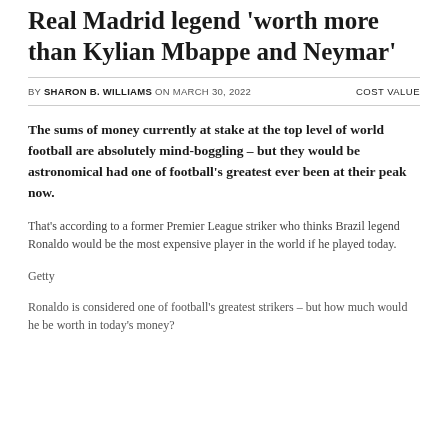Real Madrid legend 'worth more than Kylian Mbappe and Neymar'
BY SHARON B. WILLIAMS ON MARCH 30, 2022   COST VALUE
The sums of money currently at stake at the top level of world football are absolutely mind-boggling – but they would be astronomical had one of football's greatest ever been at their peak now.
That's according to a former Premier League striker who thinks Brazil legend Ronaldo would be the most expensive player in the world if he played today.
Getty
Ronaldo is considered one of football's greatest strikers – but how much would he be worth in today's money?